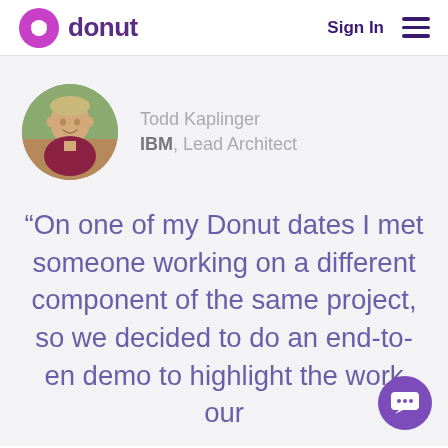donut   Sign In
[Figure (photo): Circular profile photo of Todd Kaplinger, a blond man wearing a dark red shirt, outdoors]
Todd Kaplinger
IBM, Lead Architect
“On one of my Donut dates I met someone working on a different component of the same project, so we decided to do an end-to-en demo to highlight the work our